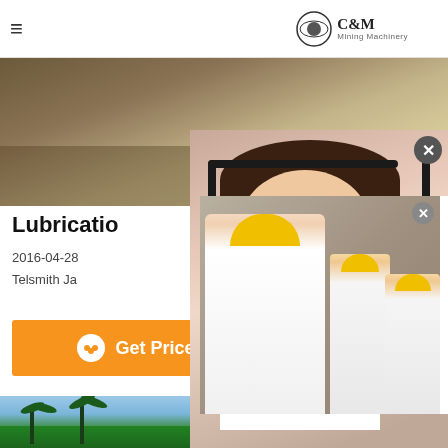C&M Mining Machinery
[Figure (photo): Industrial site banner with C&M Mach text overlay]
Lubrication
2016-04-28
Telsmith Ja
[Figure (screenshot): Live Chat popup with workers in yellow helmets and 'LIVE CHAT - Click for a Free Consultation' text, Chat now and Chat later buttons]
[Figure (photo): Customer service consultant woman with headset on dark navy background with text: have any requests, ick here. Quotation button, Enquiry section, drobilkalm@gmail.com email, Chat button]
Get Price
Send
[Figure (photo): Landscape photo with trees and sky at bottom of page]